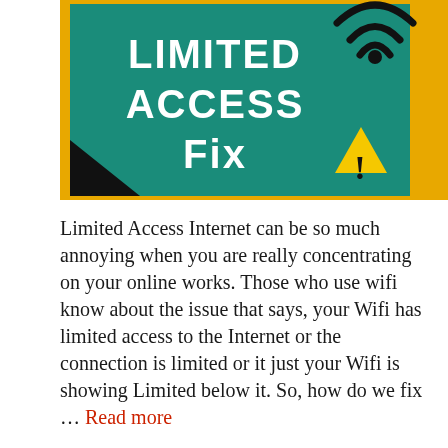[Figure (illustration): Banner image with teal/green background and yellow accents showing bold white text 'LIMITED ACCESS FIX' with a WiFi symbol and a yellow warning triangle with exclamation mark]
Limited Access Internet can be so much annoying when you are really concentrating on your online works. Those who use wifi know about the issue that says, your Wifi has limited access to the Internet or the connection is limited or it just your Wifi is showing Limited below it. So, how do we fix … Read more